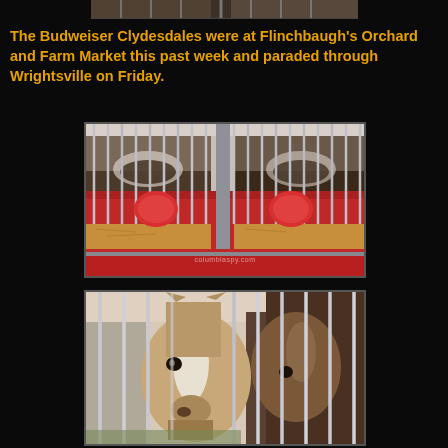[Figure (photo): Partial top photo of Budweiser Clydesdale horses in a stall trailer, cropped at top]
The Budweiser Clydesdales were at Flinchbaugh's Orchard and Farm Market this past week and paraded through Wrightsville on Friday.
[Figure (photo): Budweiser Clydesdale horses inside a red trailer stall with vertical metal bars, hay on the floor, viewed from behind with red padding visible]
[Figure (photo): Close-up of Budweiser Clydesdale horse head and neck behind vertical metal stall bars, another horse visible to the right]